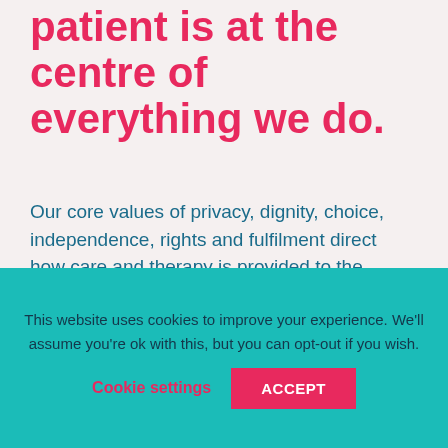patient is at the centre of everything we do.
Our core values of privacy, dignity, choice, independence, rights and fulfilment direct how care and therapy is provided to the patient ensuring dignity and respect is upheld at all times.
These core values are then
This website uses cookies to improve your experience. We'll assume you're ok with this, but you can opt-out if you wish.
Cookie settings    ACCEPT